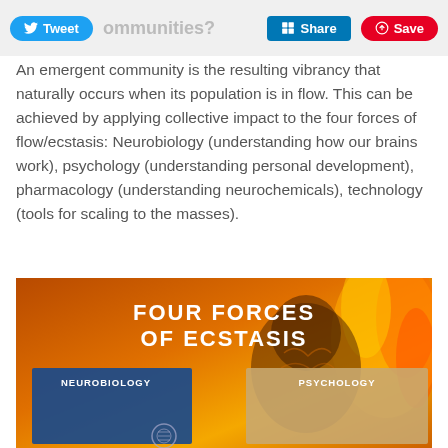Tweet | Share | Save | ...communities?
An emergent community is the resulting vibrancy that naturally occurs when its population is in flow. This can be achieved by applying collective impact to the four forces of flow/ecstasis: Neurobiology (understanding how our brains work), psychology (understanding personal development), pharmacology (understanding neurochemicals), technology (tools for scaling to the masses).
[Figure (infographic): Infographic titled 'FOUR FORCES OF ECSTASIS' showing a fiery orange background with a silhouette of a human head. Two visible panels: NEUROBIOLOGY (blue panel, text about advances in neurobiology) and PSYCHOLOGY (tan panel, text about advances in psychology).]